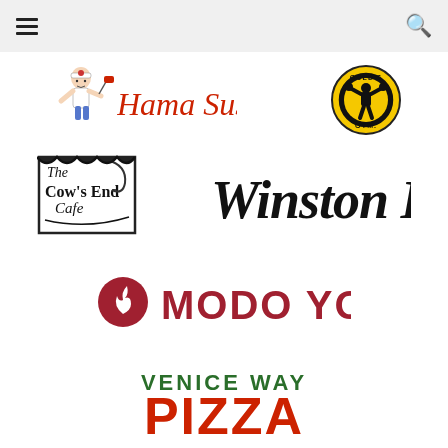Navigation bar with hamburger menu and search icon
[Figure (logo): Hama Sushi logo with illustrated sushi chef character and red italic text 'Hama Sushi']
[Figure (logo): Gold's Gym circular logo in yellow and black]
[Figure (logo): The Cow's End Cafe logo with hand-drawn illustration]
[Figure (logo): Winston House logo in large black script font]
[Figure (logo): Modo Yoga LA logo with flame icon and bold red uppercase text]
[Figure (logo): Venice Way Pizza logo with green 'VENICE WAY' and red 'PIZZA' text]